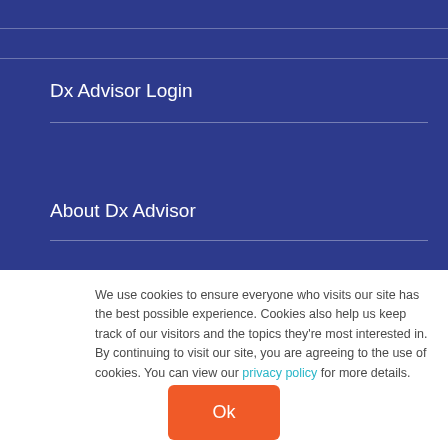Dx Advisor Login
About Dx Advisor
We use cookies to ensure everyone who visits our site has the best possible experience. Cookies also help us keep track of our visitors and the topics they're most interested in. By continuing to visit our site, you are agreeing to the use of cookies. You can view our privacy policy for more details.
Ok